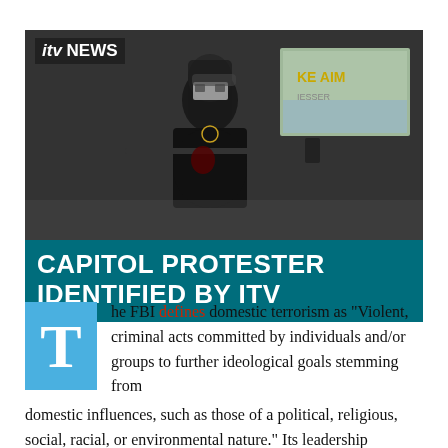[Figure (photo): ITV News screenshot showing a person wearing a skull-pattern mask and holding a rifle, with a TV screen visible in the background. ITV NEWS logo in top-left corner. Teal banner below with headline text.]
CAPITOL PROTESTER IDENTIFIED BY ITV
he FBI defines domestic terrorism as “Violent, criminal acts committed by individuals and/or groups to further ideological goals stemming from domestic influences, such as those of a political, religious, social, racial, or environmental nature.” Its leadership concedes that most of the concern centers on